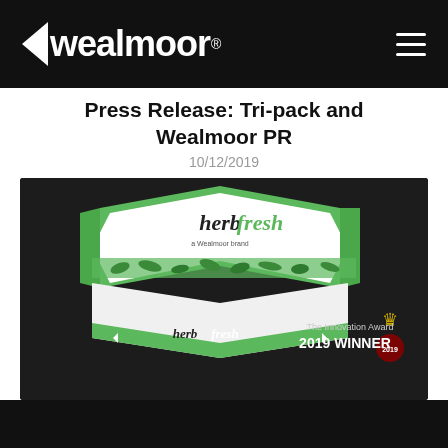wealmoor®
Press Release: Tri-pack and Wealmoor PR
10/12/2019
[Figure (photo): HerbFresh branded hexagonal tri-pack product box in green and white, shown on dark background. Includes 'The Innovation Award 2019 WINNER' badge on the right side.]